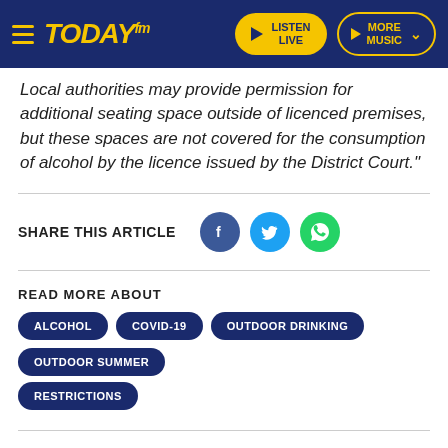Today FM — LISTEN LIVE | MORE MUSIC
Local authorities may provide permission for additional seating space outside of licenced premises, but these spaces are not covered for the consumption of alcohol by the licence issued by the District Court."
SHARE THIS ARTICLE
READ MORE ABOUT
ALCOHOL
COVID-19
OUTDOOR DRINKING
OUTDOOR SUMMER
RESTRICTIONS
YOU MIGHT LIKE
NEWS
The Number Of Pubs Drops By 21% Since 2005